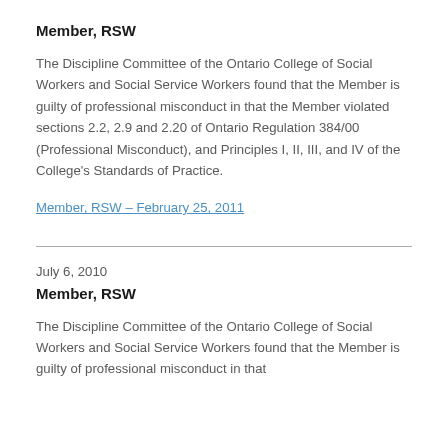Member, RSW
The Discipline Committee of the Ontario College of Social Workers and Social Service Workers found that the Member is guilty of professional misconduct in that the Member violated sections 2.2, 2.9 and 2.20 of Ontario Regulation 384/00 (Professional Misconduct), and Principles I, II, III, and IV of the College's Standards of Practice.
Member, RSW – February 25, 2011
July 6, 2010
Member, RSW
The Discipline Committee of the Ontario College of Social Workers and Social Service Workers found that the Member is guilty of professional misconduct in that